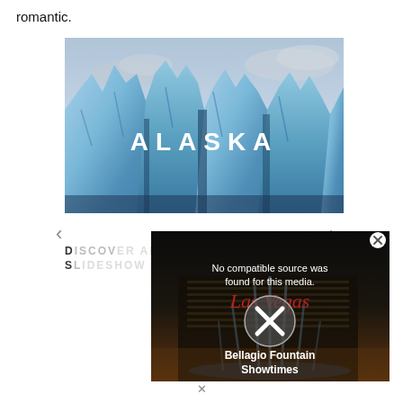romantic.
[Figure (photo): Alaska glacier image with 'ALASKA' text overlay in white bold letters, showing large blue ice formations against a cloudy sky]
[Figure (screenshot): Video player popup overlay showing Las Vegas Bellagio Fountain Showtimes with error message 'No compatible source was found for this media.' and a close X button]